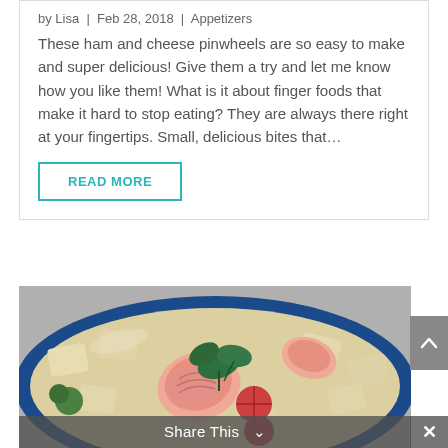by Lisa | Feb 28, 2018 | Appetizers
These ham and cheese pinwheels are so easy to make and super delicious! Give them a try and let me know how you like them! What is it about finger foods that make it hard to stop eating? They are always there right at your fingertips. Small, delicious bites that...
READ MORE
[Figure (photo): Close-up photo of shrimp pasta salad with bowtie pasta, shrimp, tomatoes, and fresh herbs in a blue bowl]
Share This